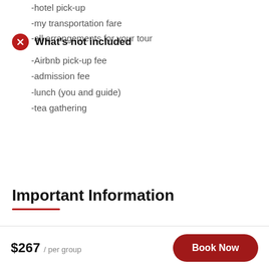-hotel pick-up
-my transportation fare
-all arrangements for your tour
What's not included
-Airbnb pick-up fee
-admission fee
-lunch (you and guide)
-tea gathering
Important Information
$267 / per group
Book Now